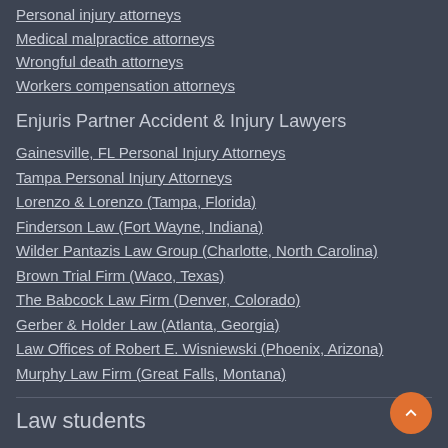Personal injury attorneys
Medical malpractice attorneys
Wrongful death attorneys
Workers compensation attorneys
Enjuris Partner Accident & Injury Lawyers
Gainesville, FL Personal Injury Attorneys
Tampa Personal Injury Attorneys
Lorenzo & Lorenzo (Tampa, Florida)
Finderson Law (Fort Wayne, Indiana)
Wilder Pantazis Law Group (Charlotte, North Carolina)
Brown Trial Firm (Waco, Texas)
The Babcock Law Firm (Denver, Colorado)
Gerber & Holder Law (Atlanta, Georgia)
Law Offices of Robert E. Wisniewski (Phoenix, Arizona)
Murphy Law Firm (Great Falls, Montana)
Law students